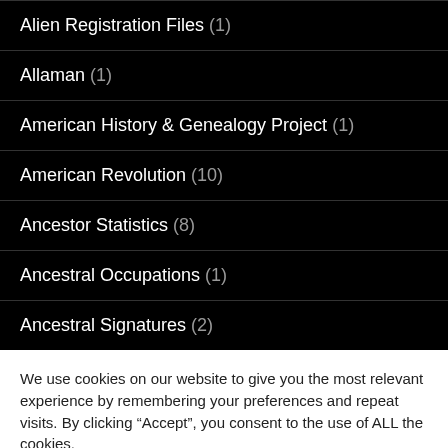Alien Registration Files (1)
Allaman (1)
American History & Genealogy Project (1)
American Revolution (10)
Ancestor Statistics (8)
Ancestral Occupations (1)
Ancestral Signatures (2)
We use cookies on our website to give you the most relevant experience by remembering your preferences and repeat visits. By clicking “Accept”, you consent to the use of ALL the cookies.
Do not sell my personal information.
Cookie settings   ACCEPT